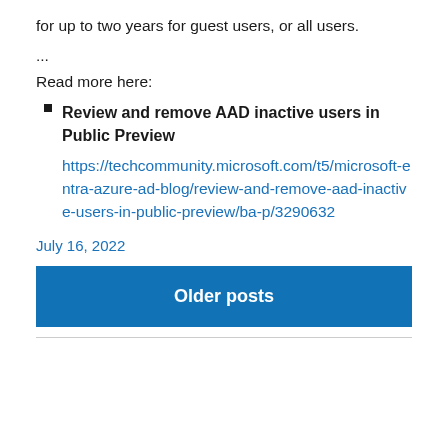for up to two years for guest users, or all users.
...
Read more here:
Review and remove AAD inactive users in Public Preview
https://techcommunity.microsoft.com/t5/microsoft-entra-azure-ad-blog/review-and-remove-aad-inactive-users-in-public-preview/ba-p/3290632
July 16, 2022
Older posts